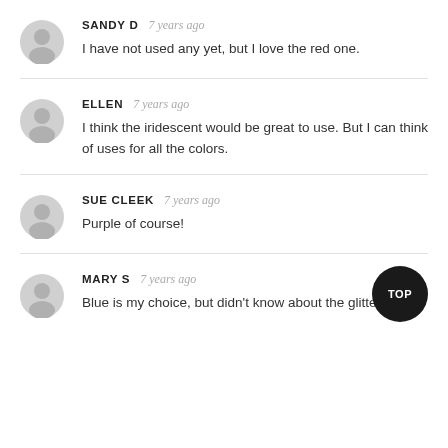SANDY D  7 years ago
I have not used any yet, but I love the red one.
ELLEN  7 years ago
I think the iridescent would be great to use. But I can think of uses for all the colors.
SUE CLEEK  7 years ago
Purple of course!
MARY S  7 years ago
Blue is my choice, but didn't know about the glitter